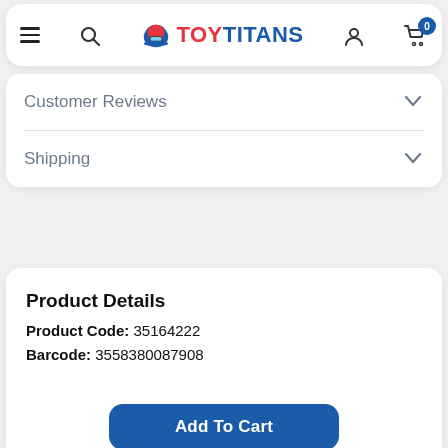TOY TITANS navigation bar with hamburger menu, search, logo, user icon, cart (0)
Customer Reviews
Shipping
Product Details
Product Code: 35164222
Barcode: 3558380087908
Add To Cart